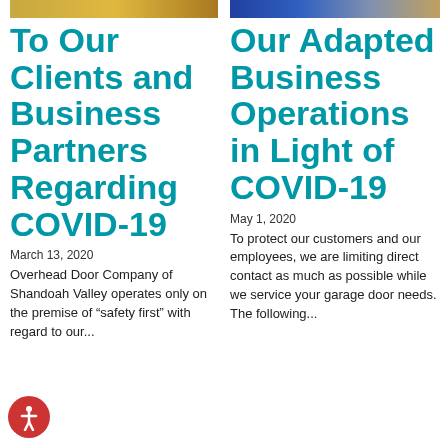[Figure (photo): Top banner image left column - outdoor/building photo with warm golden tones]
[Figure (photo): Top banner image right column - image with blue and tan tones, people or building]
To Our Clients and Business Partners Regarding COVID-19
March 13, 2020
Overhead Door Company of Shandoah Valley operates only on the premise of “safety first” with regard to our...
Our Adapted Business Operations in Light of COVID-19
May 1, 2020
To protect our customers and our employees, we are limiting direct contact as much as possible while we service your garage door needs. The following...